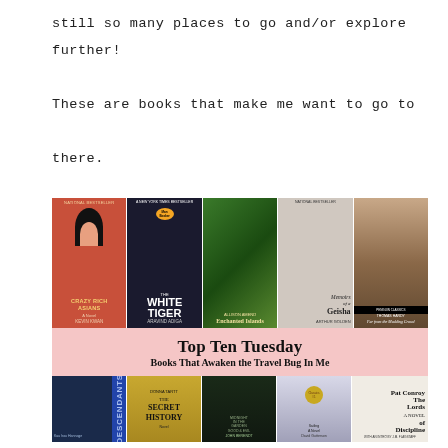still so many places to go and/or explore further! These are books that make me want to go to there.
[Figure (photo): Collage of book covers in two rows with a pink banner in the middle reading 'Top Ten Tuesday - Books That Awaken the Travel Bug In Me'. Top row includes: Crazy Rich Asians by Kevin Kwan, The White Tiger by Aravind Adiga, Enchanted Islands by Allison Amend, Memoirs of a Geisha, and Far from the Madding Crowd by Thomas Hardy. Bottom row includes: Descendants, The Secret History by Donna Tartt, Midnight in the Garden of Good and Evil by John Berendt, a book about sailing, and The Lords of Discipline by Pat Conroy.]